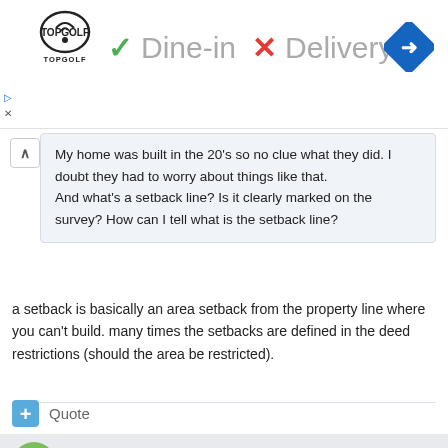[Figure (screenshot): Ad banner for Topgolf showing logo, green checkmark with Dine-in, red X with Delivery, and a blue direction sign icon]
My home was built in the 20's so no clue what they did. I doubt they had to worry about things like that. And what's a setback line? Is it clearly marked on the survey? How can I tell what is the setback line?
a setback is basically an area setback from the property line where you can't build. many times the setbacks are defined in the deed restrictions (should the area be restricted).
Quote
goastros
Posted March 26, 2009